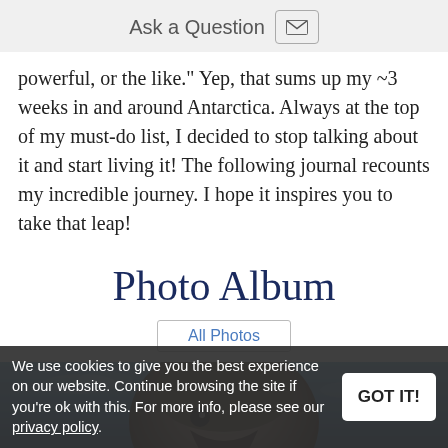Ask a Question
powerful, or the like." Yep, that sums up my ~3 weeks in and around Antarctica. Always at the top of my must-do list, I decided to stop talking about it and start living it! The following journal recounts my incredible journey. I hope it inspires you to take that leap!
Photo Album
All Photos
[Figure (photo): Close-up photo of a bird (likely a penguin or seabird) against a blue sky background with a watermark overlay.]
We use cookies to give you the best experience on our website. Continue browsing the site if you’re ok with this. For more info, please see our privacy policy.